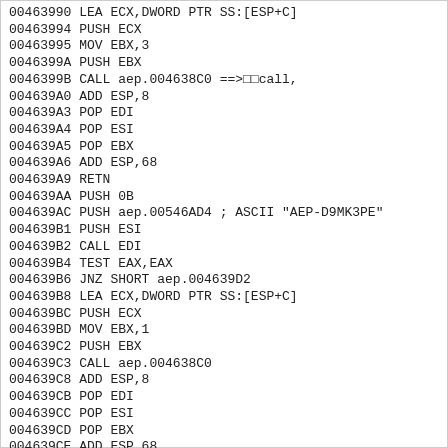00463990 LEA ECX,DWORD PTR SS:[ESP+C]
00463994 PUSH ECX
00463995 MOV EBX,3
0046399A PUSH EBX
0046399B CALL aep.004638C0 ==>  call,
004639A0 ADD ESP,8
004639A3 POP EDI
004639A4 POP ESI
004639A5 POP EBX
004639A6 ADD ESP,68
004639A9 RETN
004639AA PUSH 0B
004639AC PUSH aep.00546AD4 ; ASCII "AEP-D9MK3PE"
004639B1 PUSH ESI
004639B2 CALL EDI
004639B4 TEST EAX,EAX
004639B6 JNZ SHORT aep.004639D2
004639B8 LEA ECX,DWORD PTR SS:[ESP+C]
004639BC PUSH ECX
004639BD MOV EBX,1
004639C2 PUSH EBX
004639C3 CALL aep.004638C0
004639C8 ADD ESP,8
004639CB POP EDI
004639CC POP ESI
004639CD POP EBX
004639CE ADD ESP,68
004639D1 RETN
004639D2 PUSH 0B
004639D4 PUSH aep.00546AC8 ; ASCII "AEP-D9MK3PR"